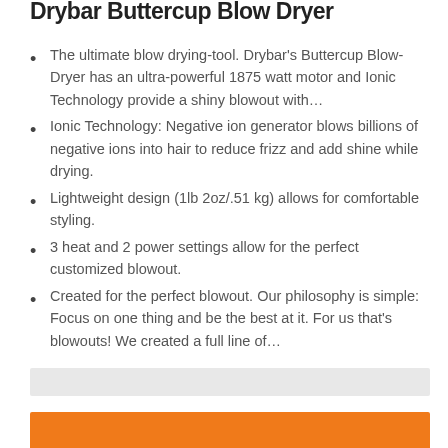Drybar Buttercup Blow Dryer
The ultimate blow drying-tool. Drybar's Buttercup Blow-Dryer has an ultra-powerful 1875 watt motor and Ionic Technology provide a shiny blowout with…
Ionic Technology: Negative ion generator blows billions of negative ions into hair to reduce frizz and add shine while drying.
Lightweight design (1lb 2oz/.51 kg) allows for comfortable styling.
3 heat and 2 power settings allow for the perfect customized blowout.
Created for the perfect blowout. Our philosophy is simple: Focus on one thing and be the best at it. For us that's blowouts! We created a full line of…